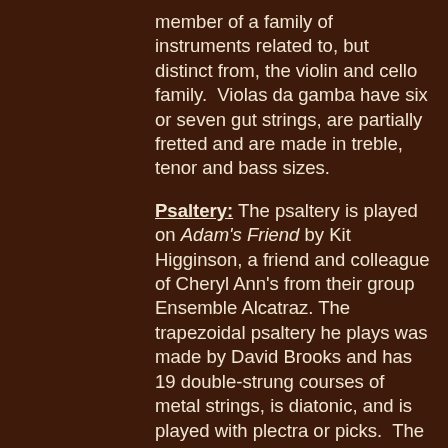member of a family of instruments related to, but distinct from, the violin and cello family.  Violas da gamba have six or seven gut strings, are partially fretted and are made in treble, tenor and bass sizes.
Psaltery: The psaltery is played on Adam's Friend by Kit Higginson, a friend and colleague of Cheryl Ann's from their group Ensemble Alcatraz. The trapezoidal psaltery he plays was made by David Brooks and has 19 double-strung courses of metal strings, is diatonic, and is played with plectra or picks.  The psaltery is distinguished from the harp in that the psaltery's strings are arranged parallel to, rather than perpendicular to, the soundboard.